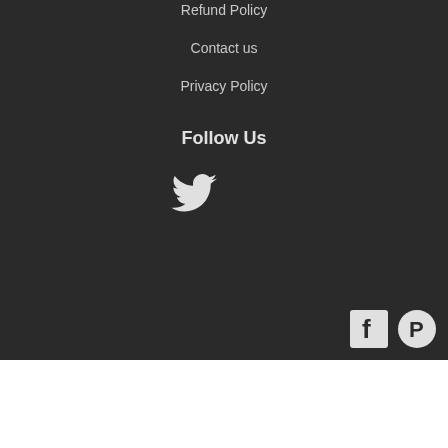Refund Policy
Contact us
Privacy Policy
Follow Us
[Figure (illustration): Twitter bird icon in white on dark background]
[Figure (illustration): Facebook icon (white F on dark square) and Pinterest icon (white P on dark circle) in bottom right of dark section]